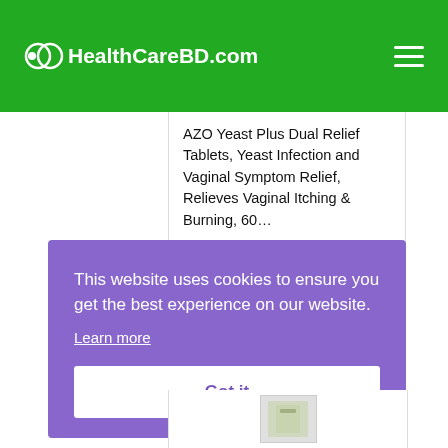HealthCareBD.com
AZO Yeast Plus Dual Relief Tablets, Yeast Infection and Vaginal Symptom Relief, Relieves Vaginal Itching & Burning, 60… $7.17
This website uses cookies to ensure you get the best experience on our website. Learn more
Got it